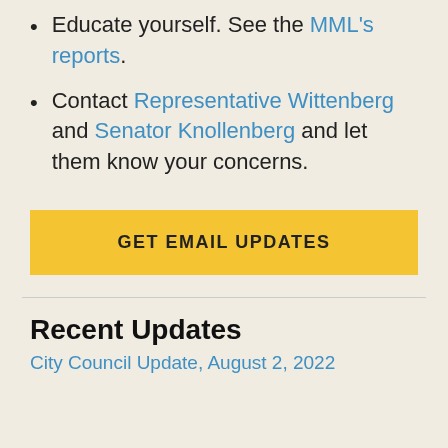Educate yourself. See the MML's reports.
Contact Representative Wittenberg and Senator Knollenberg and let them know your concerns.
GET EMAIL UPDATES
Recent Updates
City Council Update, August 2, 2022